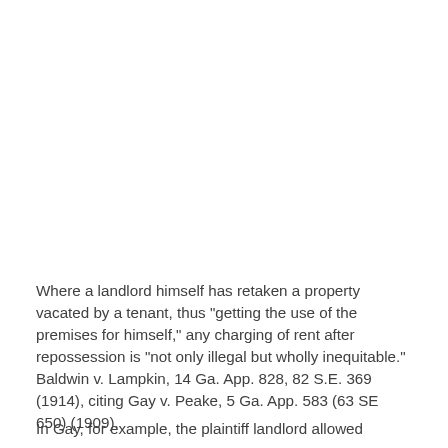Where a landlord himself has retaken a property vacated by a tenant, thus "getting the use of the premises for himself," any charging of rent after repossession is "not only illegal but wholly inequitable." Baldwin v. Lampkin, 14 Ga. App. 828, 82 S.E. 369 (1914), citing Gay v. Peake, 5 Ga. App. 583 (63 SE 650) (1909).
In Gay, for example, the plaintiff landlord allowed